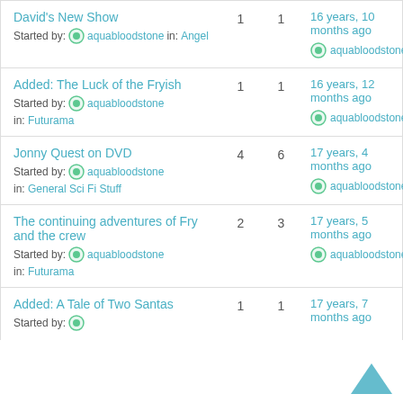David's New Show | Started by: aquabloodstone in: Angel | 1 | 1 | 16 years, 10 months ago | aquabloodstone
Added: The Luck of the Fryish | Started by: aquabloodstone in: Futurama | 1 | 1 | 16 years, 12 months ago | aquabloodstone
Jonny Quest on DVD | Started by: aquabloodstone in: General Sci Fi Stuff | 4 | 6 | 17 years, 4 months ago | aquabloodstone
The continuing adventures of Fry and the crew | Started by: aquabloodstone in: Futurama | 2 | 3 | 17 years, 5 months ago | aquabloodstone
Added: A Tale of Two Santas | Started by: aquabloodstone | 1 | 1 | 17 years, 7 months ago